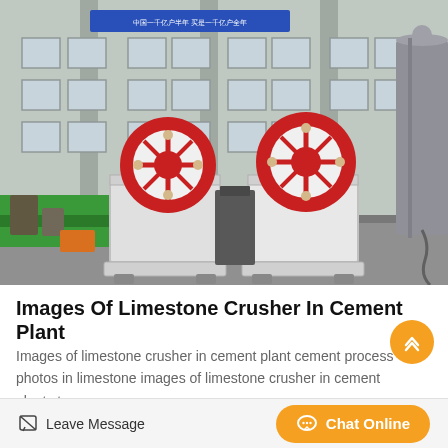[Figure (photo): Industrial factory floor showing two white jaw crusher machines with red flywheels, set in a large industrial building with green painted floor sections and a large cylindrical tank on the right.]
Images Of Limestone Crusher In Cement Plant
Images of limestone crusher in cement plant cement process photos in limestone images of limestone crusher in cement plant stone